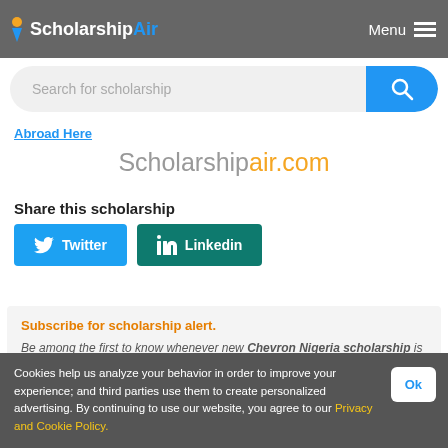[Figure (screenshot): ScholarshipAir website header with logo and Menu button]
[Figure (screenshot): Search bar with 'Search for scholarship' placeholder and blue search button]
Abroad Here
Scholarshipair.com
Share this scholarship
[Figure (screenshot): Twitter and Linkedin share buttons]
Subscribe for scholarship alert.
Be among the first to know whenever new Chevron Nigeria scholarship is going on. Enter your email address and click the
Cookies help us analyze your behavior in order to improve your experience; and third parties use them to create personalized advertising. By continuing to use our website, you agree to our Privacy and Cookie Policy.